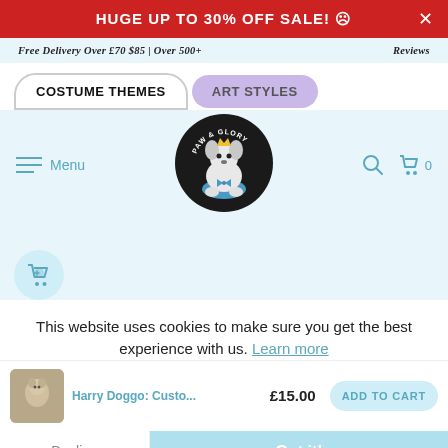Huge Up To 30% Off Sale! ☹
Free Delivery Over £70 $85 | Over 500+
Reviews
Costume Themes
Art Styles
[Figure (logo): Paw & Glory logo — cartoon dog in superhero cape inside black circle]
Menu
This website uses cookies to make sure you get the best experience with us. Learn more
Harry Doggo: Custo...
£15.00
ADD TO CART
Decline
Got it!
3 Stickers